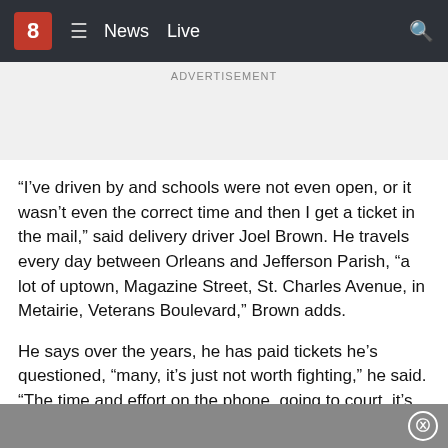8  ≡  News  Live  🔍
ADVERTISEMENT
“I’ve driven by and schools were not even open, or it wasn’t even the correct time and then I get a ticket in the mail,” said delivery driver Joel Brown. He travels every day between Orleans and Jefferson Parish, “a lot of uptown, Magazine Street, St. Charles Avenue, in Metairie, Veterans Boulevard,” Brown adds.
He says over the years, he has paid tickets he’s questioned, “many, it’s just not worth fighting,” he said. “The time and effort on the phone, going to court, it’s just not worth it. You’ll get in more trouble not paying it so just go ahead and pay it.”